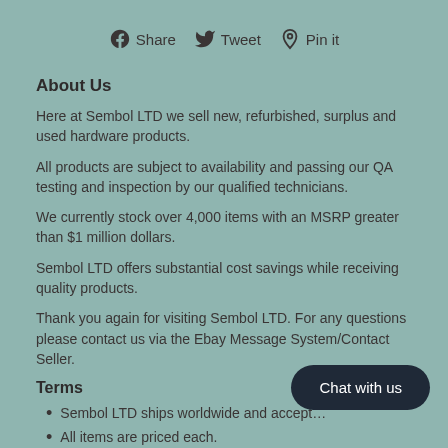Share  Tweet  Pin it
About Us
Here at Sembol LTD we sell new, refurbished, surplus and used hardware products.
All products are subject to availability and passing our QA testing and inspection by our qualified technicians.
We currently stock over 4,000 items with an MSRP greater than $1 million dollars.
Sembol LTD offers substantial cost savings while receiving quality products.
Thank you again for visiting Sembol LTD. For any questions please contact us via the Ebay Message System/Contact Seller.
Terms
Sembol LTD ships worldwide and accept…
All items are priced each.
All products are subject to availability and passing our QA